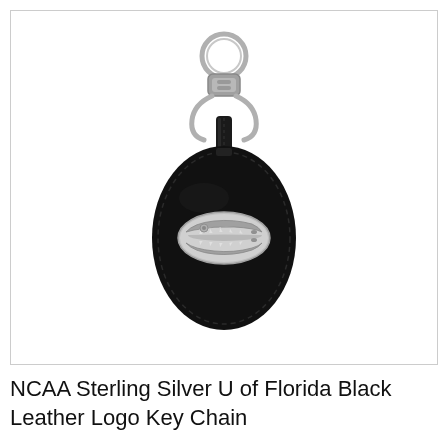[Figure (photo): A black oval leather key chain fob with a sterling silver University of Florida Gators alligator head logo emblem in the center, attached to a silver swivel lobster claw clasp and split ring at the top.]
NCAA Sterling Silver U of Florida Black Leather Logo Key Chain